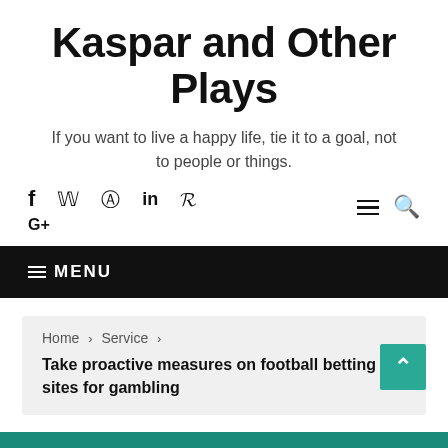Kaspar and Other Plays
If you want to live a happy life, tie it to a goal, not to people or things.
[Figure (infographic): Social media icons: Facebook, Twitter, Instagram, LinkedIn, Pinterest]
[Figure (infographic): Google+ social icon]
[Figure (infographic): Hamburger menu icon and search icon on the right]
≡ MENU
Home › Service › Take proactive measures on football betting sites for gambling